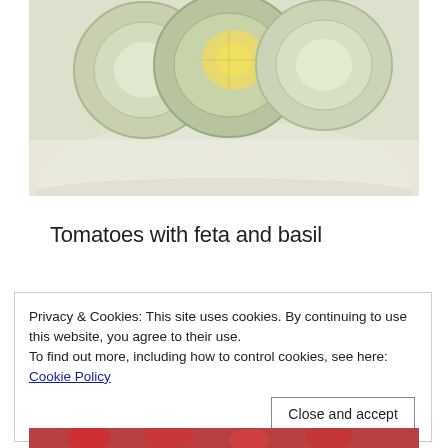[Figure (photo): Close-up photo of sliced vegetables or citrus on a plate, showing round pale green and yellow slices against a white/cream background]
Tomatoes with feta and basil
Privacy & Cookies: This site uses cookies. By continuing to use this website, you agree to their use.
To find out more, including how to control cookies, see here: Cookie Policy
[Figure (photo): Partial photo at bottom of page showing red tomatoes with feta and basil]